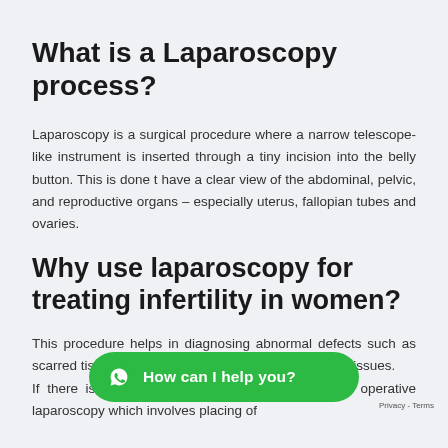What is a Laparoscopy process?
Laparoscopy is a surgical procedure where a narrow telescope-like instrument is inserted through a tiny incision into the belly button. This is done t have a clear view of the abdominal, pelvic, and reproductive organs – especially uterus, fallopian tubes and ovaries.
Why use laparoscopy for treating infertility in women?
This procedure helps in diagnosing abnormal defects such as scarred tissues, endometriosis, fibroid tu or any other issues. If there is any defect, it can be removed through operative laparoscopy which involves placing of